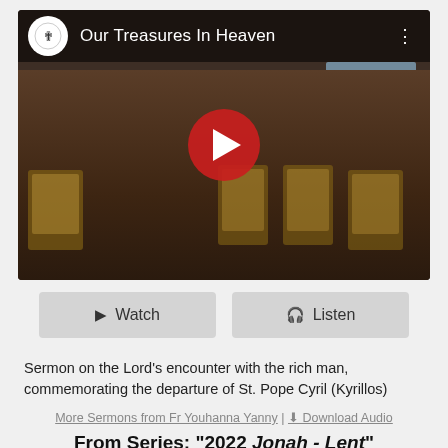[Figure (screenshot): YouTube video thumbnail showing a priest in white vestments speaking at a church, with Orthodox icons on the brick wall behind. Channel name 'Our Treasures In Heaven' shown at top with logo. Large red play button in center.]
Watch   Listen
Sermon on the Lord's encounter with the rich man, commemorating the departure of St. Pope Cyril (Kyrillos)
More Sermons from Fr Youhanna Yanny | Download Audio
From Series: "2022 Jonah - Lent"